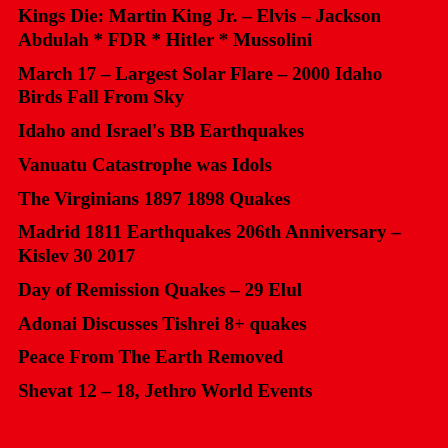Kings Die: Martin King Jr. – Elvis – Jackson Abdulah * FDR * Hitler * Mussolini
March 17 – Largest Solar Flare – 2000 Idaho Birds Fall From Sky
Idaho and Israel's BB Earthquakes
Vanuatu Catastrophe was Idols
The Virginians 1897 1898 Quakes
Madrid 1811 Earthquakes 206th Anniversary – Kislev 30 2017
Day of Remission Quakes – 29 Elul
Adonai Discusses Tishrei 8+ quakes
Peace From The Earth Removed
Shevat 12 – 18, Jethro World Events